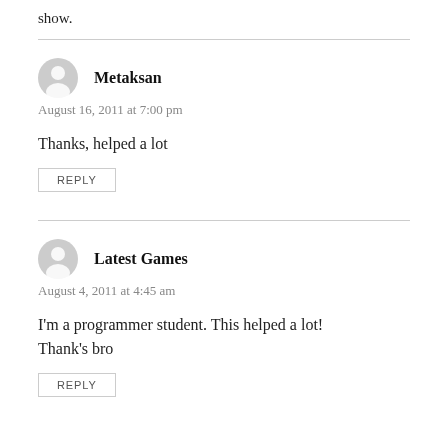show.
Metaksan
August 16, 2011 at 7:00 pm
Thanks, helped a lot
REPLY
Latest Games
August 4, 2011 at 4:45 am
I'm a programmer student. This helped a lot! Thank's bro
REPLY